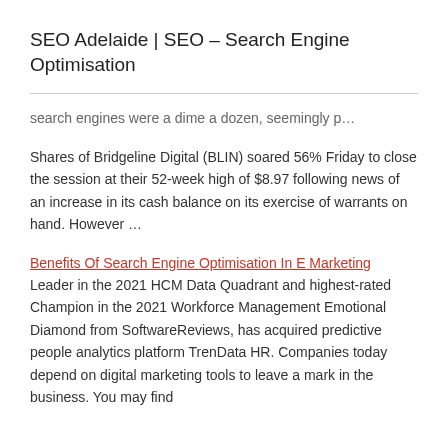SEO Adelaide | SEO – Search Engine Optimisation
search engines were a dime a dozen, seemingly p…
Shares of Bridgeline Digital (BLIN) soared 56% Friday to close the session at their 52-week high of $8.97 following news of an increase in its cash balance on its exercise of warrants on hand. However …
Benefits Of Search Engine Optimisation In E Marketing Leader in the 2021 HCM Data Quadrant and highest-rated Champion in the 2021 Workforce Management Emotional Diamond from SoftwareReviews, has acquired predictive people analytics platform TrenData HR. Companies today depend on digital marketing tools to leave a mark in the business. You may find